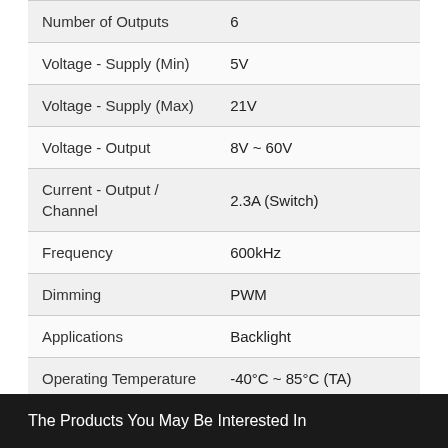| Property | Value |
| --- | --- |
| Number of Outputs | 6 |
| Voltage - Supply (Min) | 5V |
| Voltage - Supply (Max) | 21V |
| Voltage - Output | 8V ~ 60V |
| Current - Output / Channel | 2.3A (Switch) |
| Frequency | 600kHz |
| Dimming | PWM |
| Applications | Backlight |
| Operating Temperature | -40°C ~ 85°C (TA) |
| Mounting Type | Surface Mount |
| Package / Case | 24-UFQFN Exposed Pad |
| Supplier Device Package | 24-QFN-EP (4x4) |
The Products You May Be Interested In